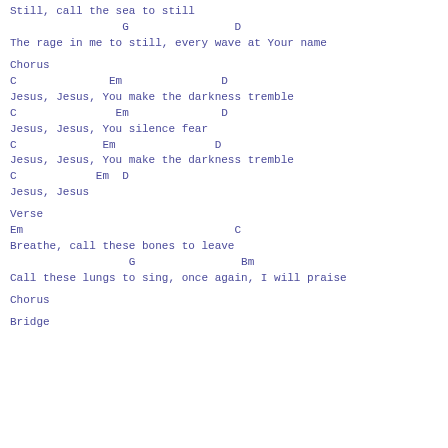Still, call the sea to still
G                D
The rage in me to still, every wave at Your name
Chorus
C              Em               D
Jesus, Jesus, You make the darkness tremble
C               Em              D
Jesus, Jesus, You silence fear
C             Em               D
Jesus, Jesus, You make the darkness tremble
C            Em  D
Jesus, Jesus
Verse
Em                                C
Breathe, call these bones to leave
G                Bm
Call these lungs to sing, once again, I will praise
Chorus
Bridge